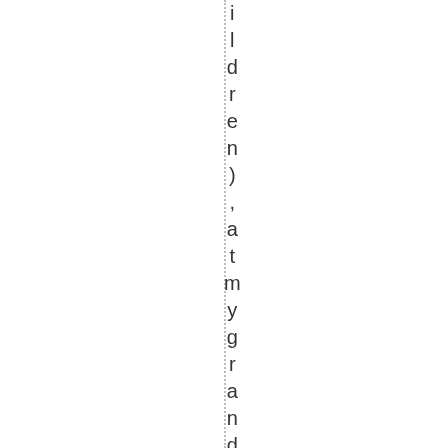ildren), at mygrandmother, shouse